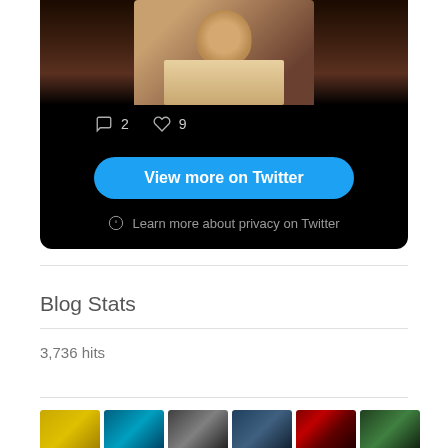[Figure (screenshot): Twitter embed widget showing bottom of a tweet with a photo of a person, comment count 2 and like count 9, a blue 'View more on Twitter' button, and a 'Learn more about privacy on Twitter' link]
Blog Stats
3,736 hits
[Figure (photo): Row of thumbnail images at bottom of page]